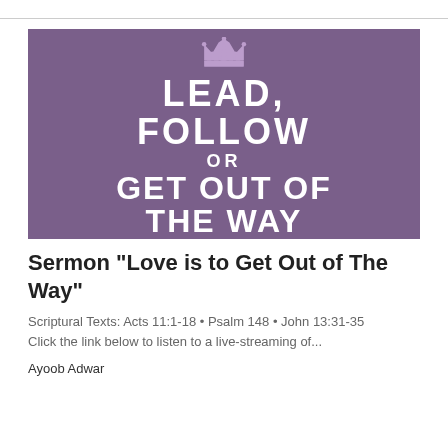[Figure (illustration): Purple 'Keep Calm' style banner with a crown icon at top and bold white text reading: LEAD, FOLLOW OR GET OUT OF THE WAY]
Sermon "Love is to Get Out of The Way"
Scriptural Texts: Acts 11:1-18 • Psalm 148 • John 13:31-35
Click the link below to listen to a live-streaming of...
Ayoob Adwar